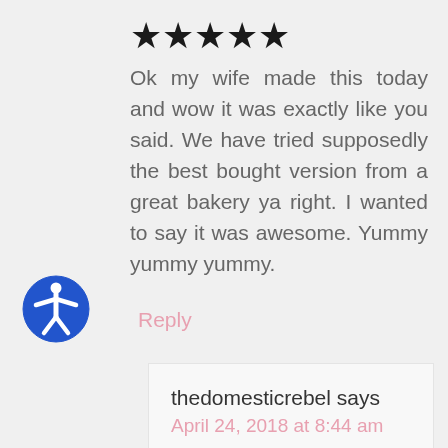[Figure (other): Five black filled stars rating (5 out of 5)]
Ok my wife made this today and wow it was exactly like you said. We have tried supposedly the best bought version from a great bakery ya right. I wanted to say it was awesome. Yummy yummy yummy.
[Figure (other): Blue circular accessibility icon (person in circle with arms outstretched)]
Reply
thedomesticrebel says
April 24, 2018 at 8:44 am
Robert, I am so glad you and